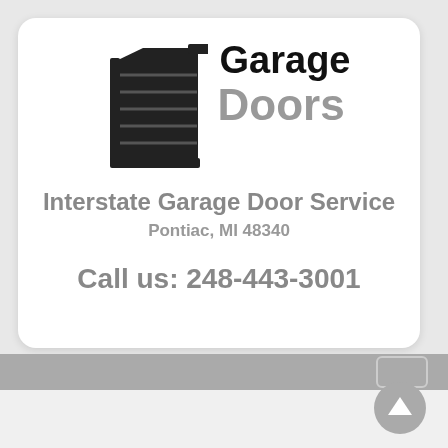[Figure (logo): Garage door icon: stylized garage door panel viewed from the side, black silhouette]
Garage Doors
Interstate Garage Door Service
Pontiac, MI 48340
Call us: 248-443-3001